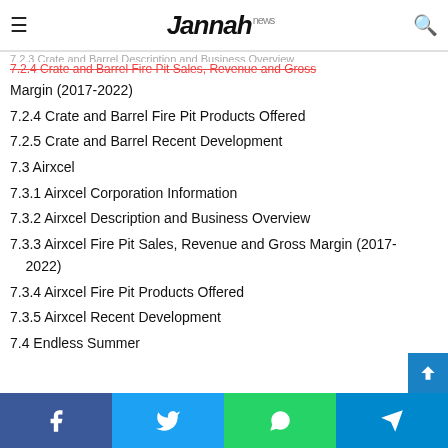Jannah news
7.2.4 Crate and Barrel Fire Pit Sales, Revenue and Gross Margin (2017-2022)
7.2.4 Crate and Barrel Fire Pit Products Offered
7.2.5 Crate and Barrel Recent Development
7.3 Airxcel
7.3.1 Airxcel Corporation Information
7.3.2 Airxcel Description and Business Overview
7.3.3 Airxcel Fire Pit Sales, Revenue and Gross Margin (2017-2022)
7.3.4 Airxcel Fire Pit Products Offered
7.3.5 Airxcel Recent Development
7.4 Endless Summer
7.4.1 Endless Summer Corporation Information
7.4.2 Endless Summer Description and Business Overview
7.4.3 Endless Summer Fire Pit Sales, Revenue and Gro...